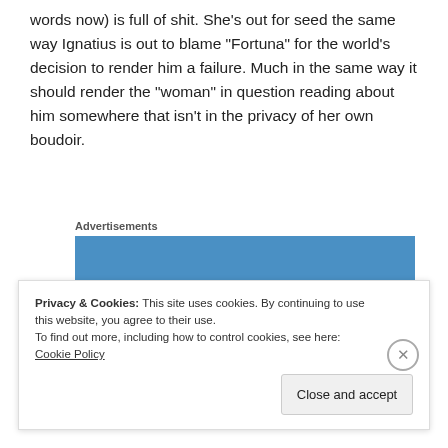words now) is full of shit. She’s out for seed the same way Ignatius is out to blame “Fortuna” for the world’s decision to render him a failure. Much in the same way it should render the “woman” in question reading about him somewhere that isn’t in the privacy of her own boudoir.
[Figure (other): Automattic advertisement banner in blue with the text AUTOMATTIC in white letters and a thin horizontal line above it]
Privacy & Cookies: This site uses cookies. By continuing to use this website, you agree to their use.
To find out more, including how to control cookies, see here: Cookie Policy
Close and accept